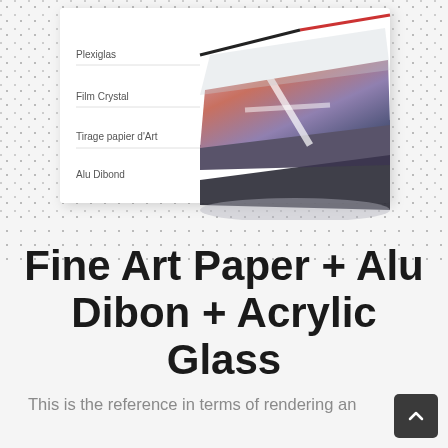[Figure (illustration): Exploded diagram of layered print product showing 4 layers labeled: Plexiglas, Film Crystal, Tirage papier d'Art, Alu Dibond. Layers shown as stacked sheets with a photographic image (mountain/architectural scene with purple tones) on the top layer. Dotted background pattern.]
Fine Art Paper + Alu Dibon + Acrylic Glass
This is the reference in terms of rendering and quality. A perfectly combined light and texture of fine art